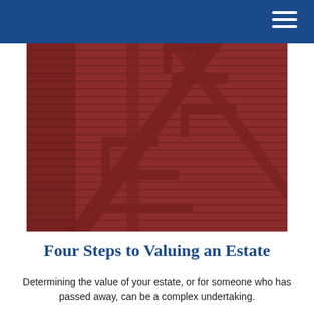[Figure (photo): Close-up photograph of red-painted exterior wooden stairs with horizontal siding boards on a building wall. The stairs are seen from an angle showing the stair stringers and treads, all painted a deep brick red color.]
Four Steps to Valuing an Estate
Determining the value of your estate, or for someone who has passed away, can be a complex undertaking.